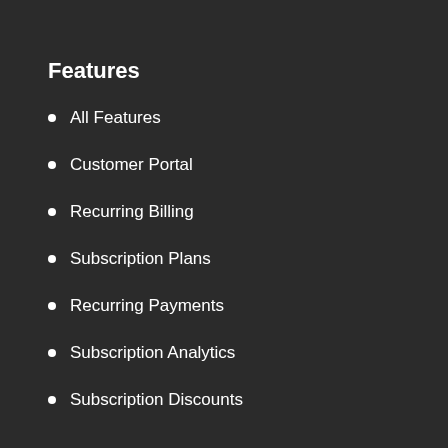Features
All Features
Customer Portal
Recurring Billing
Subscription Plans
Recurring Payments
Subscription Analytics
Subscription Discounts
Search